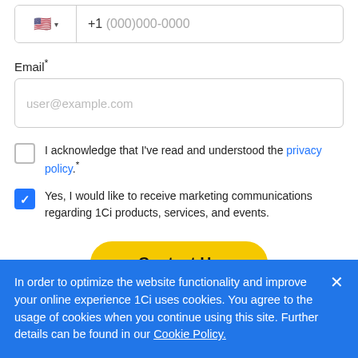[Figure (screenshot): Phone input field with US flag emoji and +1 (000)000-0000 placeholder]
Email*
[Figure (screenshot): Email input field with placeholder user@example.com]
I acknowledge that I've read and understood the privacy policy.*
Yes, I would like to receive marketing communications regarding 1Ci products, services, and events.
Contact Us
In order to optimize the website functionality and improve your online experience 1Ci uses cookies. You agree to the usage of cookies when you continue using this site. Further details can be found in our Cookie Policy.